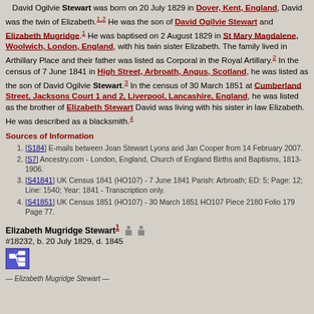David Ogilvie Stewart was born on 20 July 1829 in Dover, Kent, England, David was the twin of Elizabeth.[1,2] He was the son of David Ogilvie Stewart and Elizabeth Mugridge.[1] He was baptised on 2 August 1829 in St Mary Magdalene, Woolwich, London, England, with his twin sister Elizabeth. The family lived in Arthillary Place and their father was listed as Corporal in the Royal Artillary.[2] In the census of 7 June 1841 in High Street, Arbroath, Angus, Scotland, he was listed as the son of David Ogilvie Stewart.[3] In the census of 30 March 1851 at Cumberland Street, Jacksons Court 1 and 2, Liverpool, Lancashire, England, he was listed as the brother of Elizabeth Stewart David was living with his sister in law Elizabeth. He was described as a blacksmith.[4]
Sources of Information
[S184] E-mails between Joan Stewart Lyons and Jan Cooper from 14 February 2007.
[S7] Ancestry.com - London, England, Church of England Births and Baptisms, 1813-1906.
[S41841] UK Census 1841 (HO107) - 7 June 1841 Parish: Arbroath; ED: 5; Page: 12; Line: 1540; Year: 1841 - Transcription only.
[S41851] UK Census 1851 (HO107) - 30 March 1851 HO107 Piece 2180 Folio 179 Page 77.
Elizabeth Mugridge Stewart #1 #18232, b. 20 July 1829, d. 1845